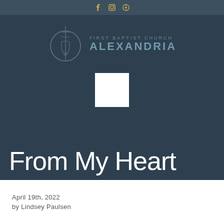Social media icons: Facebook, Instagram, Podcast
[Figure (logo): First Baptist Church Alexandria logo — circular icon with cross/steeple motif alongside text 'FIRST BAPTIST CHURCH ALEXANDRIA']
[Figure (other): White square thumbnail/play button placeholder]
From My Heart
April 19th, 2022
by Lindsey Paulsen